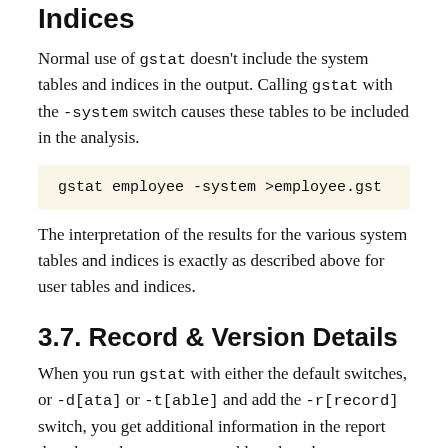Indices
Normal use of gstat doesn't include the system tables and indices in the output. Calling gstat with the -system switch causes these tables to be included in the analysis.
gstat employee -system >employee.gst
The interpretation of the results for the various system tables and indices is exactly as described above for user tables and indices.
3.7. Record & Version Details
When you run gstat with either the default switches, or -d[ata] or -t[able] and add the -r[record] switch, you get additional information in the report that shows the average record length and